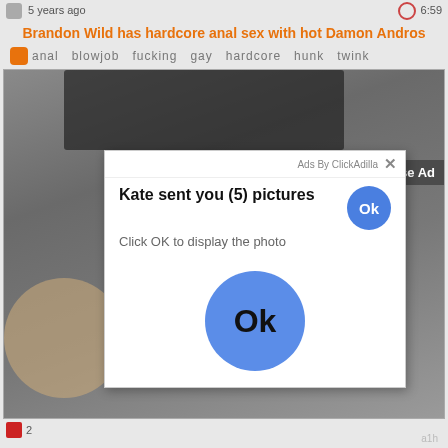5 years ago   6:59
Brandon Wild has hardcore anal sex with hot Damon Andros
anal  blowjob  fucking  gay  hardcore  hunk  twink
[Figure (screenshot): Screenshot of an adult video website showing a video thumbnail with a man, overlaid by a pop-up ad from ClickAdilla reading 'Kate sent you (5) pictures / Click OK to display the photo' with an Ok button, and a '[x] Close Ad' button on the video.]
2
a1h